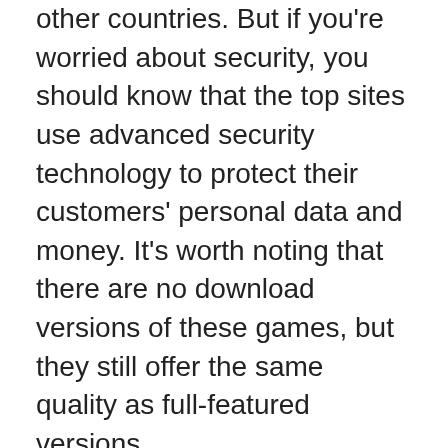other countries. But if you're worried about security, you should know that the top sites use advanced security technology to protect their customers' personal data and money. It's worth noting that there are no download versions of these games, but they still offer the same quality as full-featured versions.
If you're a new player, you should find a site with "beginner" tables. These tables are the best option for beginners because they offer a level playing field. In addition to beginner tables, some of the most popular poker sites also have special tournaments. These can be very lucrative if you're winning a large amount of money. You can also play in cash games to compete against other players. You can get started with the same-day freerolls as others.
Besides avoiding cheating, players should focus on winning. While some players may think the game is unfair they should try to keep their emotions in check